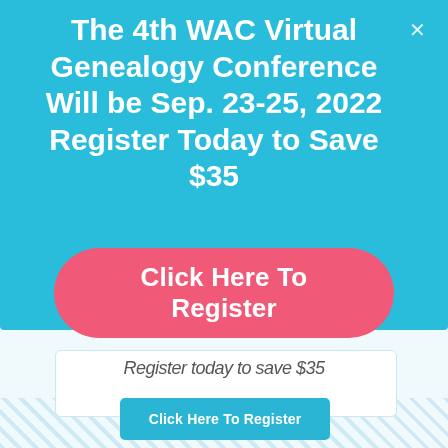The 4th WAC Virtual Genealogy Conference Will be Sep. 23-25, 2022 Register Today to Save $35
Click Here To Register
Register today to save $35
Click Here To Register